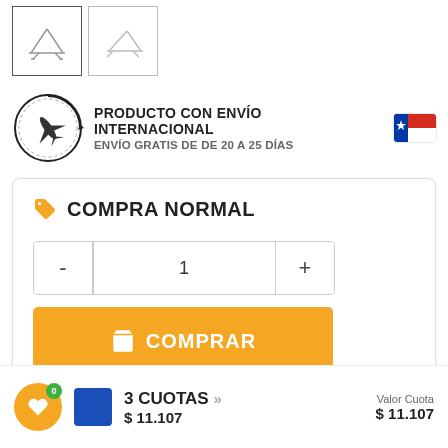[Figure (photo): Two product thumbnail images in bordered boxes, showing a laptop stand from different angles]
[Figure (infographic): International shipping banner with airplane icon in circle, text PRODUCTO CON ENVÍO INTERNACIONAL ENVÍO GRATIS DE DE 20 A 25 DÍAS, and Chilean flag]
COMPRA NORMAL
- 1 +
COMPRAR
3 CUOTAS
Valor Cuota
$ 11.107